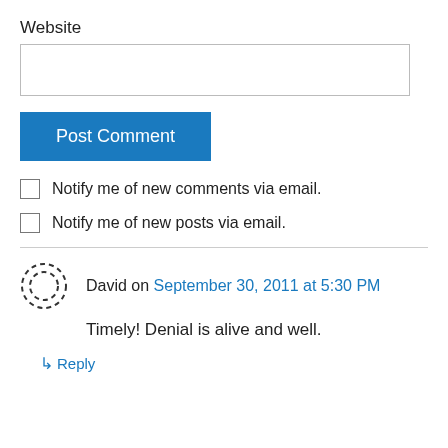Website
Post Comment
Notify me of new comments via email.
Notify me of new posts via email.
David on September 30, 2011 at 5:30 PM
Timely! Denial is alive and well.
↳ Reply